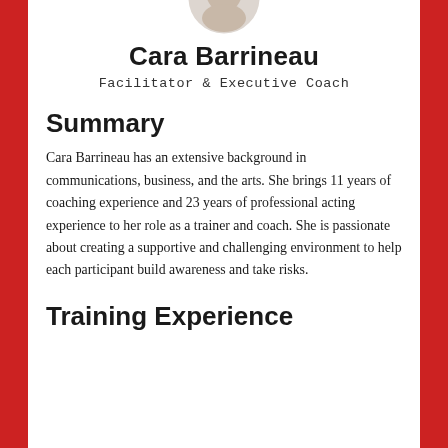[Figure (photo): Partial circular headshot photo of Cara Barrineau at top of page]
Cara Barrineau
Facilitator & Executive Coach
Summary
Cara Barrineau has an extensive background in communications, business, and the arts. She brings 11 years of coaching experience and 23 years of professional acting experience to her role as a trainer and coach. She is passionate about creating a supportive and challenging environment to help each participant build awareness and take risks.
Training Experience